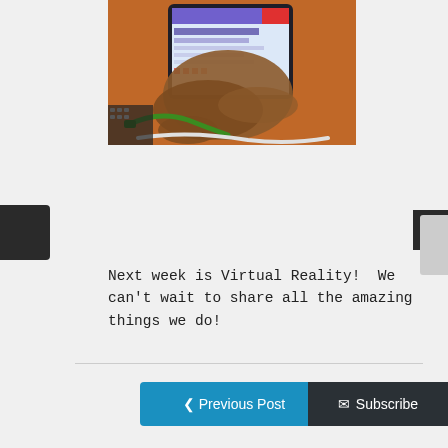[Figure (photo): A person holding a tablet device with a colorful screen showing an app interface, with green and white wires/cables visible, on an orange background.]
Next week is Virtual Reality!  We can't wait to share all the amazing things we do!